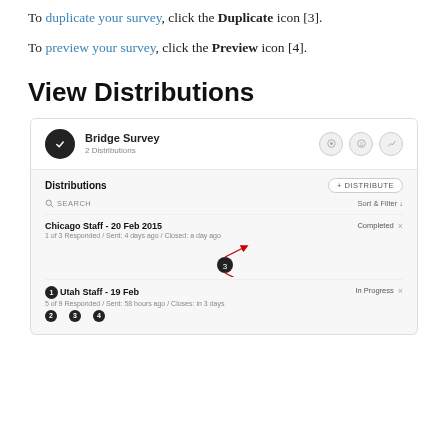To duplicate your survey, click the Duplicate icon [3].
To preview your survey, click the Preview icon [4].
View Distributions
[Figure (screenshot): Screenshot of a survey platform showing 'Bridge Survey' with 2 Distributions. The distributions panel lists 'Chicago Staff - 20 Feb 2015' (Completed) and 'Utah Staff - 19 Feb' (In Progress). Numbered callout annotations (1-4) point to UI elements.]